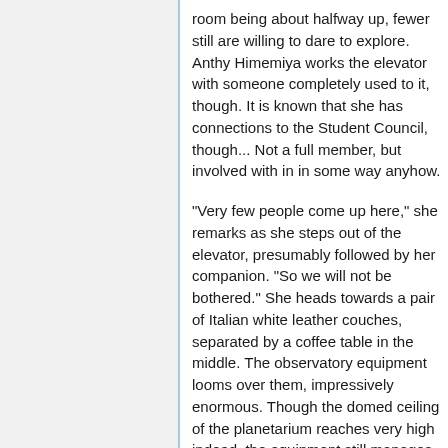room being about halfway up, fewer still are willing to dare to explore. Anthy Himemiya works the elevator with someone completely used to it, though. It is known that she has connections to the Student Council, though... Not a full member, but involved with in in some way anyhow.
"Very few people come up here," she remarks as she steps out of the elevator, presumably followed by her companion. "So we will not be bothered." She heads towards a pair of Italian white leather couches, separated by a coffee table in the middle. The observatory equipment looms over them, impressively enormous. Though the domed ceiling of the planetarium reaches very high indeed, the equipment still manages to dominate the room.